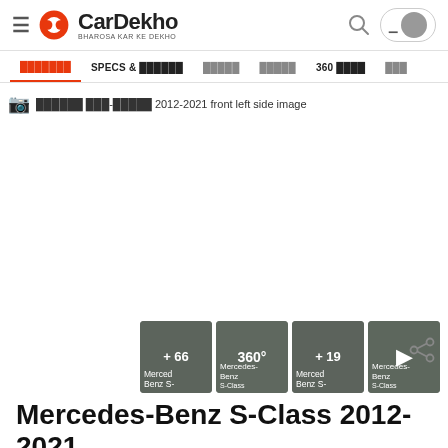CarDekho — BHAROSA KAR KE DEKHO
SPECS & features | 360 view
[Figure (screenshot): Broken image placeholder with alt text: mercedes benz s-class 2012-2021 front left side image]
[Figure (photo): Thumbnail grid: +66 Mercedes-Benz S-Class images, 360° view, +19 images, video play button]
Mercedes-Benz S-Class 2012-2021 Maybach S500